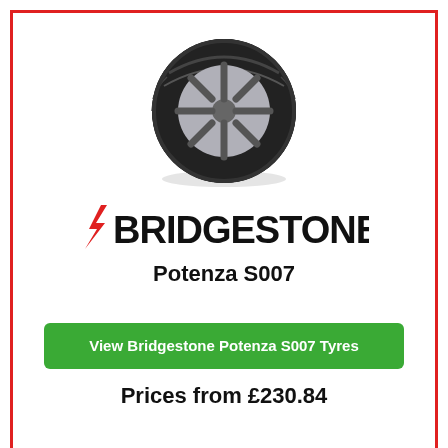[Figure (photo): Bridgestone Potenza S007 tyre product photo on white background]
[Figure (logo): Bridgestone logo with red lightning bolt slash and bold black text BRIDGESTONE]
Potenza S007
View Bridgestone Potenza S007 Tyres
Prices from £230.84